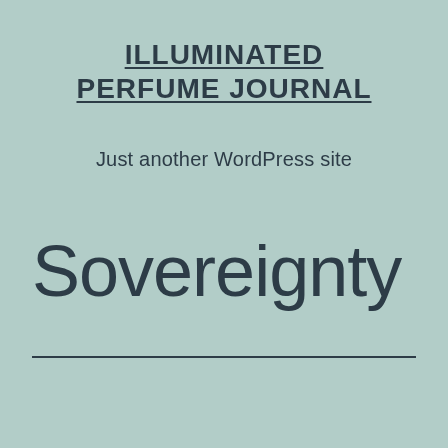ILLUMINATED PERFUME JOURNAL
Just another WordPress site
Sovereignty